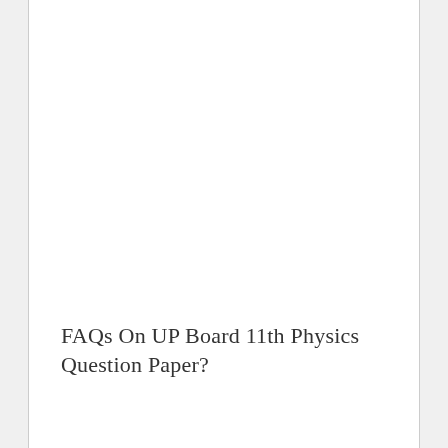FAQs On UP Board 11th Physics Question Paper?